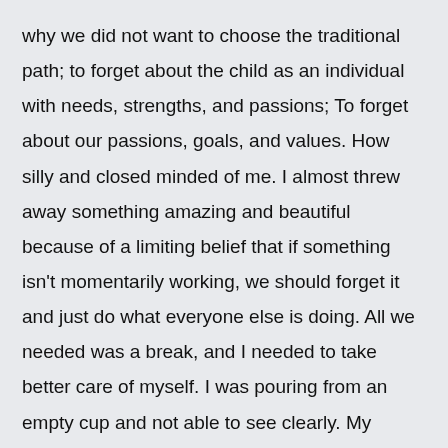why we did not want to choose the traditional path; to forget about the child as an individual with needs, strengths, and passions; To forget about our passions, goals, and values. How silly and closed minded of me. I almost threw away something amazing and beautiful because of a limiting belief that if something isn't momentarily working, we should forget it and just do what everyone else is doing. All we needed was a break, and I needed to take better care of myself. I was pouring from an empty cup and not able to see clearly. My perceptions were blocking me from seeing the big picture. So the key word from my friend's enlightening